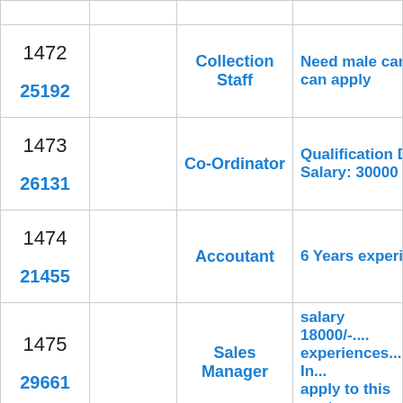| # | ID | Position | Description |
| --- | --- | --- | --- |
| 1472 | 25192 | Collection Staff | Need male cand... can apply |
| 1473 | 26131 | Co-Ordinator | Qualification De... Salary: 30000 Exp... |
| 1474 | 21455 | Accoutant | 6 Years experien... |
| 1475 | 29661 | Sales Manager | salary 18000/-.... experiences..... In... apply to this post... |
| 1476 | 27768 | PHP Programmer | 4 Year experienc... Interested candid... |
| 1477 | 29797 | SEO | Qualification De... Female Minim... |